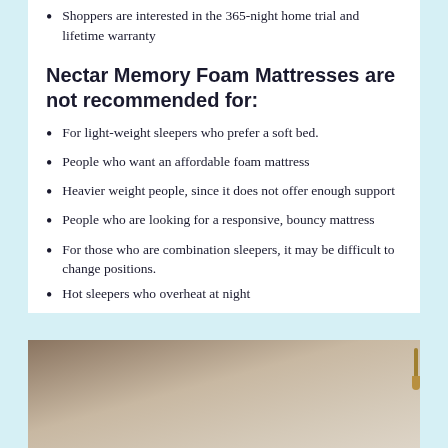Shoppers are interested in the 365-night home trial and lifetime warranty
Nectar Memory Foam Mattresses are not recommended for:
For light-weight sleepers who prefer a soft bed.
People who want an affordable foam mattress
Heavier weight people, since it does not offer enough support
People who are looking for a responsive, bouncy mattress
For those who are combination sleepers, it may be difficult to change positions.
Hot sleepers who overheat at night
[Figure (photo): Photo of a mattress in a bedroom setting with a wall-mounted lamp visible in the upper right area]